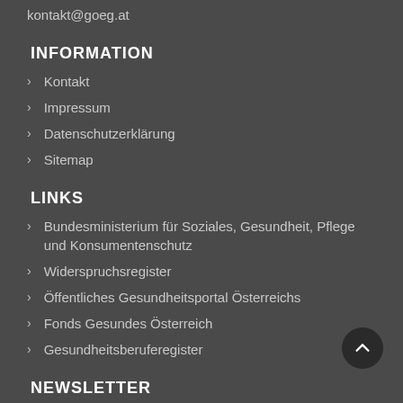kontakt@goeg.at
INFORMATION
Kontakt
Impressum
Datenschutzerklärung
Sitemap
LINKS
Bundesministerium für Soziales, Gesundheit, Pflege und Konsumentenschutz
Widerspruchsregister
Öffentliches Gesundheitsportal Österreichs
Fonds Gesundes Österreich
Gesundheitsberuferegister
NEWSLETTER